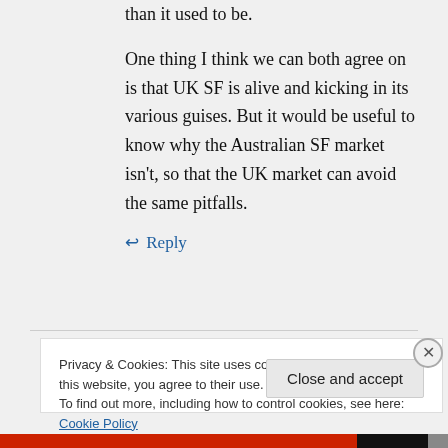than it used to be.
One thing I think we can both agree on is that UK SF is alive and kicking in its various guises. But it would be useful to know why the Australian SF market isn't, so that the UK market can avoid the same pitfalls.
↩ Reply
Privacy & Cookies: This site uses cookies. By continuing to use this website, you agree to their use.
To find out more, including how to control cookies, see here: Cookie Policy